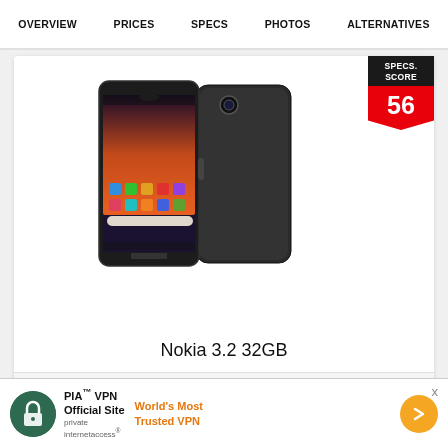OVERVIEW   PRICES   SPECS   PHOTOS   ALTERNATIVES
[Figure (photo): Nokia 3.2 32GB smartphone shown front and back, dark grey color]
Nokia 3.2 32GB
[Figure (infographic): SPECS. SCORE badge showing score 56 in red with downward arrow pennant shape]
amazon.in
[Figure (infographic): Promotional advertisement showing kitchenware products at 70% off with red and black packaging and minus close button]
[Figure (infographic): SPECS. SCORE badge showing score 50 in red with downward arrow pennant shape]
[Figure (screenshot): PIA VPN advertisement banner: PIA TM VPN Official Site | World's Most Trusted VPN with orange arrow button, private internet access logo]
x